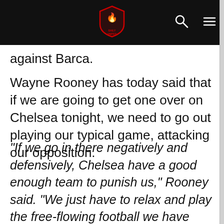Daily United — logo header with search and menu icons
against Barca.
Wayne Rooney has today said that if we are going to get one over on Chelsea tonight, we need to go out playing our typical game, attacking our opposition.
“If we go in there negatively and defensively, Chelsea have a good enough team to punish us,” Rooney said. “We just have to relax and play the free-flowing football we have played most of the season. We said when we got to the final how good it would be to beat an English team, but also how much it would hurt if we lost. To get so close and if we didn’t manage to win it, particularly to an